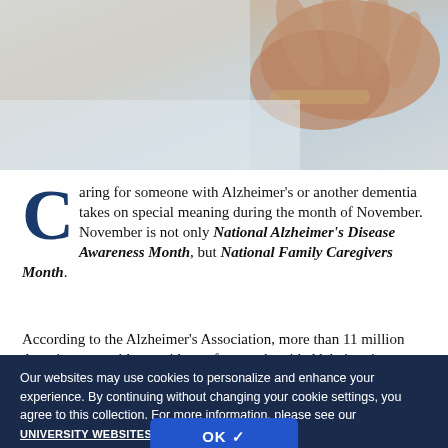[Figure (photo): Close-up photo of elderly hands resting on a light-colored surface, likely a blanket or pillow]
Caring for someone with Alzheimer's or another dementia takes on special meaning during the month of November. November is not only National Alzheimer's Disease Awareness Month, but National Family Caregivers Month.
According to the Alzheimer's Association, more than 11 million Americans provide unpaid care for people with Alzheimer's or other dementias. In 2020, these caregivers...
Our websites may use cookies to personalize and enhance your experience. By continuing without changing your cookie settings, you agree to this collection. For more information, please see our UNIVERSITY WEBSITES PRIVACY NOTICE.